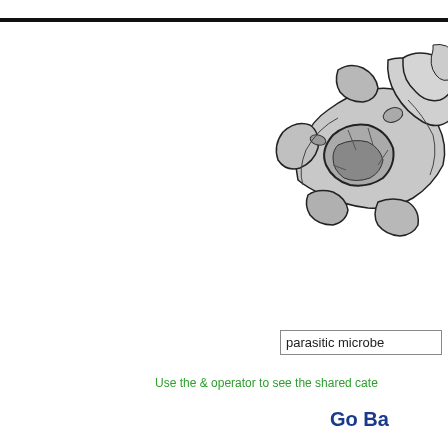[Figure (illustration): Partial illustration of bones/fossil fragments or rocky debris, black and white line art, appearing in the upper right corner of the page]
parasitic microbe
Use the & operator to see the shared cate
Go Ba